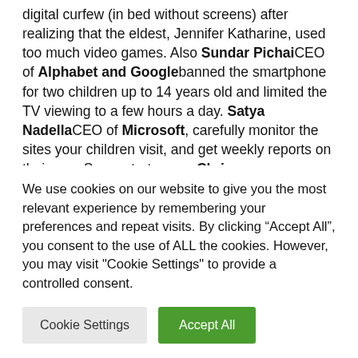digital curfew (in bed without screens) after realizing that the eldest, Jennifer Katharine, used too much video games. Also Sundar Pichai CEO of Alphabet and Google banned the smartphone for two children up to 14 years old and limited the TV viewing to a few hours a day. Satya Nadella CEO of Microsoft, carefully monitor the sites your children visit, and get weekly reports on their use. Same strategy as Chris
We use cookies on our website to give you the most relevant experience by remembering your preferences and repeat visits. By clicking “Accept All”, you consent to the use of ALL the cookies. However, you may visit "Cookie Settings" to provide a controlled consent.